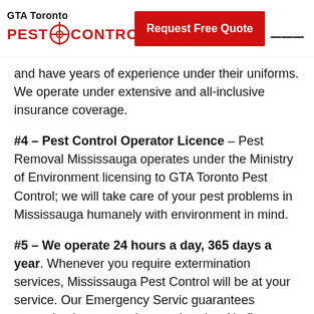GTA Toronto PEST CONTROL | Request Free Quote
and have years of experience under their uniforms. We operate under extensive and all-inclusive insurance coverage.
#4 – Pest Control Operator Licence – Pest Removal Mississauga operates under the Ministry of Environment licensing to GTA Toronto Pest Control; we will take care of your pest problems in Mississauga humanely with environment in mind.
#5 – We operate 24 hours a day, 365 days a year. Whenever you require extermination services, Mississauga Pest Control will be at your service. Our Emergency Service guarantees extermination protocol starts that day. No flash trucks, we keep them unmarked.